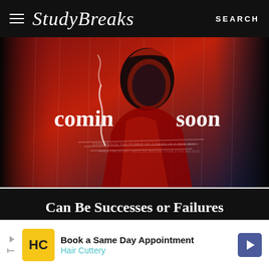Study Breaks — SEARCH
[Figure (illustration): Movie trailer promotional image with dark red and blue graphic art of a person looking down, smoking. Text reads 'COMING SOON' in white handwritten lettering on a dark red/blue background.]
SCREENS
Just Like Films, Movie Trailers Can Be Successes or Failures
Book a Same Day Appointment — Hair Cuttery (advertisement)